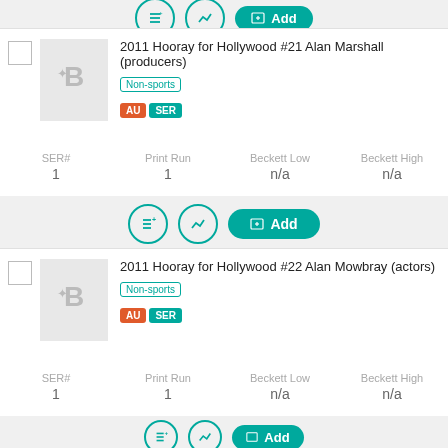[Figure (other): Action bar with list, chart, and Add buttons (top, partially visible)]
2011 Hooray for Hollywood #21 Alan Marshall (producers)
Non-sports
AU SER
| SER# | Print Run | Beckett Low | Beckett High |
| --- | --- | --- | --- |
| 1 | 1 | n/a | n/a |
[Figure (other): Action bar with list, chart, and Add buttons]
2011 Hooray for Hollywood #22 Alan Mowbray (actors)
Non-sports
AU SER
| SER# | Print Run | Beckett Low | Beckett High |
| --- | --- | --- | --- |
| 1 | 1 | n/a | n/a |
[Figure (other): Action bar with list, chart, and Add buttons (bottom, partially visible)]
We use cookies to help personalize content, tailor and measure ads, and provide a safer experience. By navigating the site, you agree to the use of cookies to collect information. Read our Cookie Policy.
Get Beckett on your mobile device.
Install App